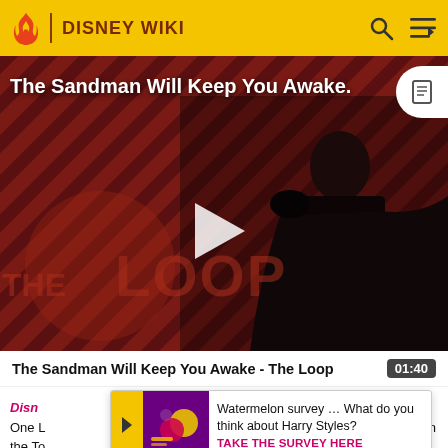DISNEY WIKI
[Figure (screenshot): Video thumbnail showing a person in black costume against a dark red diagonal stripe background, with 'The Loop' logo watermark and a play button in the center. Title 'The Sandman Will Keep You Awake.' overlaid in white text.]
The Sandman Will Keep You Awake - The Loop 01:40
Disn
Watermelon survey … What do you think about Harry Styles? TAKE THE SURVEY HERE
One L in the To